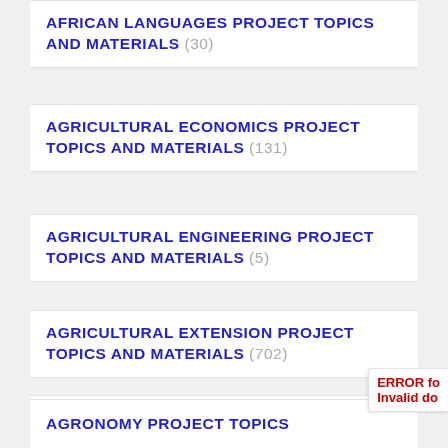AFRICAN LANGUAGES PROJECT TOPICS AND MATERIALS (30)
AGRICULTURAL ECONOMICS PROJECT TOPICS AND MATERIALS (131)
AGRICULTURAL ENGINEERING PROJECT TOPICS AND MATERIALS (5)
AGRICULTURAL EXTENSION PROJECT TOPICS AND MATERIALS (702)
AGRICULTURAL SCIENCE TOPICS AND MATERIALS (255)
AGRONOMY PROJECT TOPICS